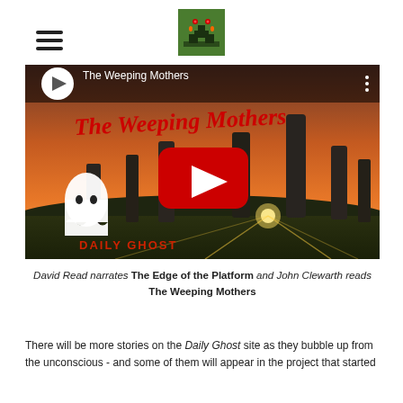[Figure (screenshot): Hamburger menu icon (three horizontal lines) on the left of the header]
[Figure (logo): Daily Ghost / horror website logo with red eyes and candle-like figure on green background]
[Figure (screenshot): YouTube video thumbnail for 'The Weeping Mothers' by Daily Ghost, showing standing stones (Callanish) at sunset with a ghost figure and red play button overlay]
David Read narrates The Edge of the Platform and John Clewarth reads The Weeping Mothers
There will be more stories on the Daily Ghost site as they bubble up from the unconscious - and some of them will appear in the project that started